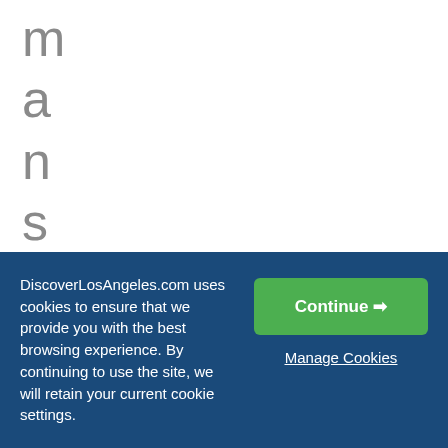m a n s o n a n d S a r
DiscoverLosAngeles.com uses cookies to ensure that we provide you with the best browsing experience. By continuing to use the site, we will retain your current cookie settings.
Continue →
Manage Cookies